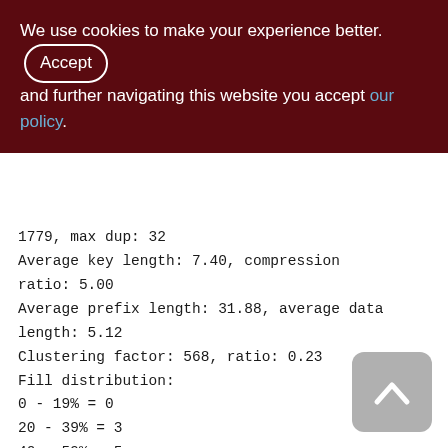We use cookies to make your experience better. By accepting and further navigating this website you accept our policy.
1779, max dup: 32
Average key length: 7.40, compression ratio: 5.00
Average prefix length: 31.88, average data length: 5.12
Clustering factor: 568, ratio: 0.23
Fill distribution:
0 - 19% = 0
20 - 39% = 3
40 - 59% = 5
60 - 79% = 0
80 - 99% = 0